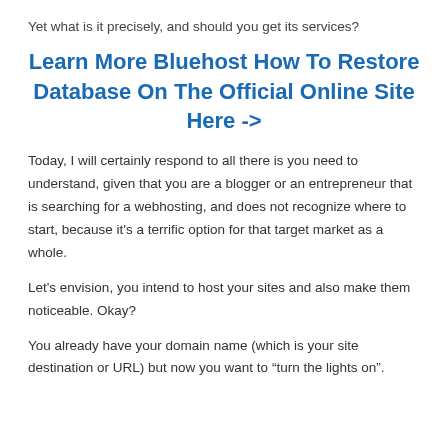Yet what is it precisely, and should you get its services?
Learn More Bluehost How To Restore Database On The Official Online Site Here ->
Today, I will certainly respond to all there is you need to understand, given that you are a blogger or an entrepreneur that is searching for a webhosting, and does not recognize where to start, because it's a terrific option for that target market as a whole.
Let's envision, you intend to host your sites and also make them noticeable. Okay?
You already have your domain name (which is your site destination or URL) but now you want to “turn the lights on”.